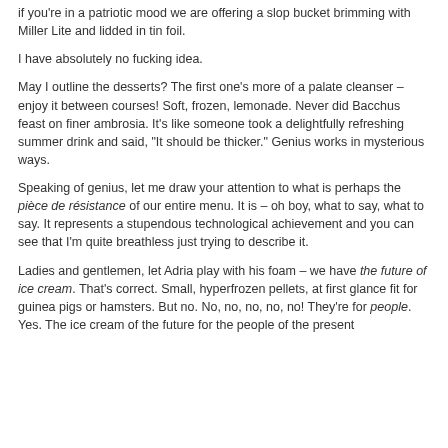if you're in a patriotic mood we are offering a slop bucket brimming with Miller Lite and lidded in tin foil.
I have absolutely no fucking idea.
May I outline the desserts? The first one's more of a palate cleanser – enjoy it between courses! Soft, frozen, lemonade. Never did Bacchus feast on finer ambrosia. It's like someone took a delightfully refreshing summer drink and said, "It should be thicker." Genius works in mysterious ways.
Speaking of genius, let me draw your attention to what is perhaps the pièce de résistance of our entire menu. It is – oh boy, what to say, what to say. It represents a stupendous technological achievement and you can see that I'm quite breathless just trying to describe it.
Ladies and gentlemen, let Adria play with his foam – we have the future of ice cream. That's correct. Small, hyperfrozen pellets, at first glance fit for guinea pigs or hamsters. But no. No, no, no, no, no! They're for people. Yes. The ice cream of the future for the people of the present